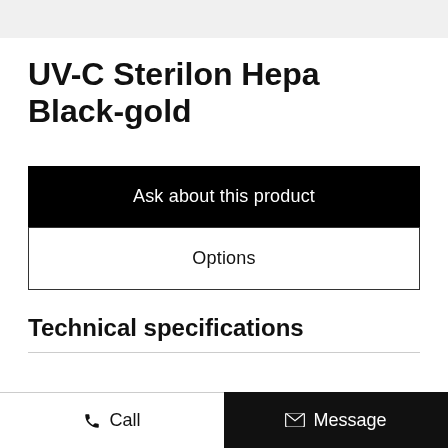UV-C Sterilon Hepa Black-gold
Ask about this product
Options
Technical specifications
Call  Message